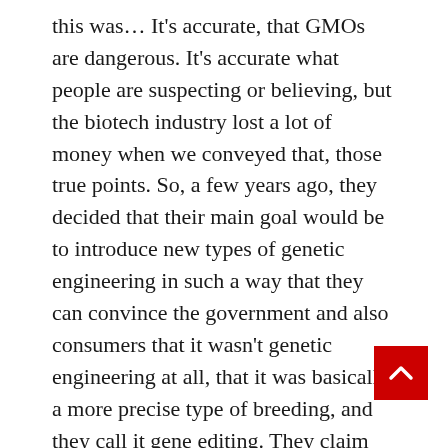this was… It's accurate, that GMOs are dangerous. It's accurate what people are suspecting or believing, but the biotech industry lost a lot of money when we conveyed that, those true points. So, a few years ago, they decided that their main goal would be to introduce new types of genetic engineering in such a way that they can convince the government and also consumers that it wasn't genetic engineering at all, that it was basically a more precise type of breeding, and they call it gene editing. They claim falsely that if it doesn't bring in foreign genes from another species, it shouldn't be a GMO at all, it's gene editing. They claim it's same words, it's safe and predictable, and doesn't need regulation. But they're more organized now than they were 25 years ago, and they actually have